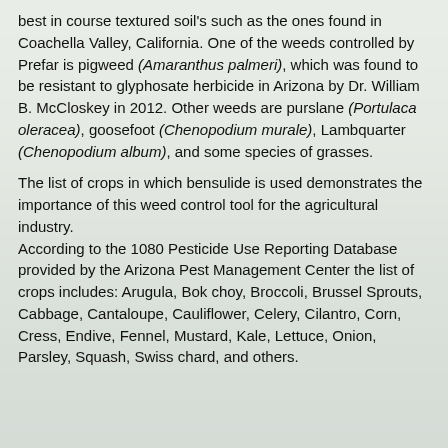best in course textured soil's such as the ones found in Coachella Valley, California. One of the weeds controlled by Prefar is pigweed (Amaranthus palmeri), which was found to be resistant to glyphosate herbicide in Arizona by Dr. William B. McCloskey in 2012. Other weeds are purslane (Portulaca oleracea), goosefoot (Chenopodium murale), Lambquarter (Chenopodium album), and some species of grasses.
The list of crops in which bensulide is used demonstrates the importance of this weed control tool for the agricultural industry. According to the 1080 Pesticide Use Reporting Database provided by the Arizona Pest Management Center the list of crops includes: Arugula, Bok choy, Broccoli, Brussel Sprouts, Cabbage, Cantaloupe, Cauliflower, Celery, Cilantro, Corn, Cress, Endive, Fennel, Mustard, Kale, Lettuce, Onion, Parsley, Squash, Swiss chard, and others.